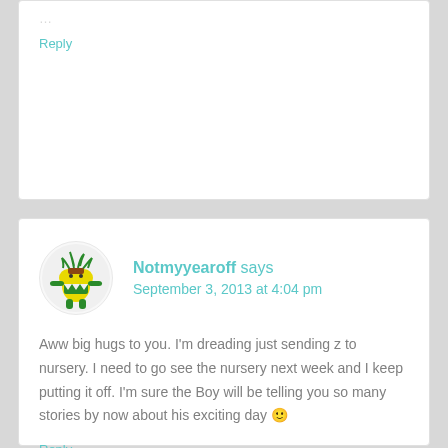Reply
Notmyyearoff says
September 3, 2013 at 4:04 pm
Aww big hugs to you. I'm dreading just sending z to nursery. I need to go see the nursery next week and I keep putting it off. I'm sure the Boy will be telling you so many stories by now about his exciting day 🙂
Reply